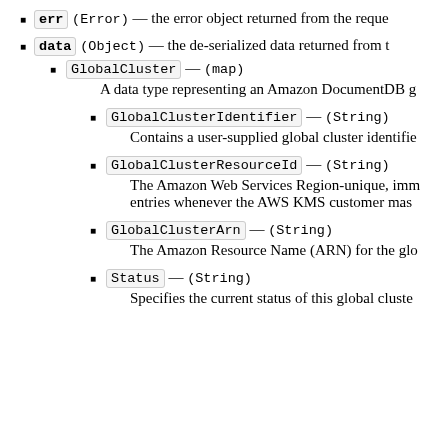err (Error) — the error object returned from the reque
data (Object) — the de-serialized data returned from t
GlobalCluster — (map)
A data type representing an Amazon DocumentDB g
GlobalClusterIdentifier — (String)
Contains a user-supplied global cluster identifie
GlobalClusterResourceId — (String)
The Amazon Web Services Region-unique, imm entries whenever the AWS KMS customer mas
GlobalClusterArn — (String)
The Amazon Resource Name (ARN) for the glo
Status — (String)
Specifies the current status of this global cluste